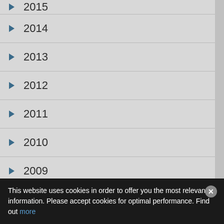2015
2014
2013
2012
2011
2010
2009
2008
This website uses cookies in order to offer you the most relevant information. Please accept cookies for optimal performance. Find out more